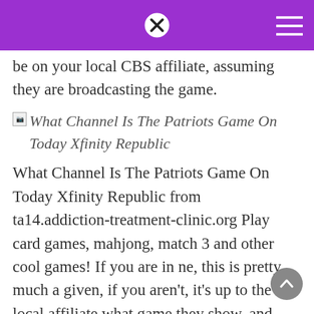[Purple header bar with close button and hamburger menu]
be on your local CBS affiliate, assuming they are broadcasting the game.
[Figure (other): Broken image placeholder with alt text: What Channel Is The Patriots Game On Today Xfinity Republic]
What Channel Is The Patriots Game On Today Xfinity Republic from ta14.addiction-treatment-clinic.org Play card games, mahjong, match 3 and other cool games! If you are in ne, this is pretty much a given, if you aren't, it's up to the local affiliate what game they show, and although ne is a pretty big draw, it isnt guaranteed 100% free online